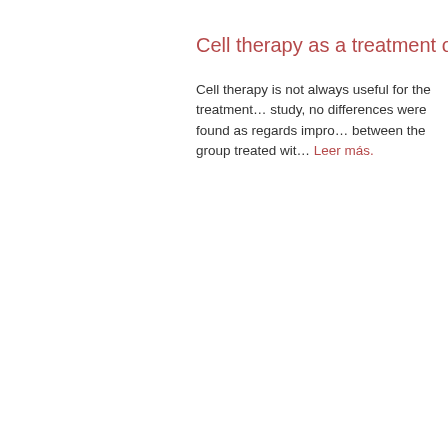Cell therapy as a treatment of Crohn…
Cell therapy is not always useful for the treatment… study, no differences were found as regards impro… between the group treated wit… Leer más.